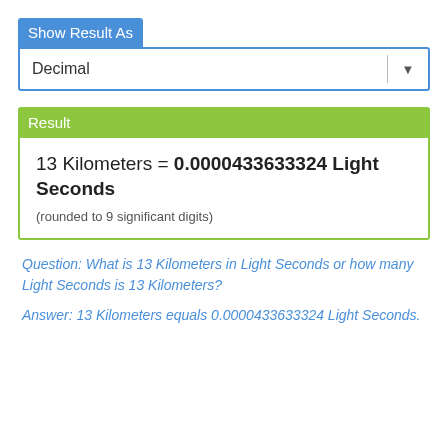Show Result As
Decimal
Result
13 Kilometers = 0.0000433633324 Light Seconds
(rounded to 9 significant digits)
Question: What is 13 Kilometers in Light Seconds or how many Light Seconds is 13 Kilometers?
Answer: 13 Kilometers equals 0.0000433633324 Light Seconds.